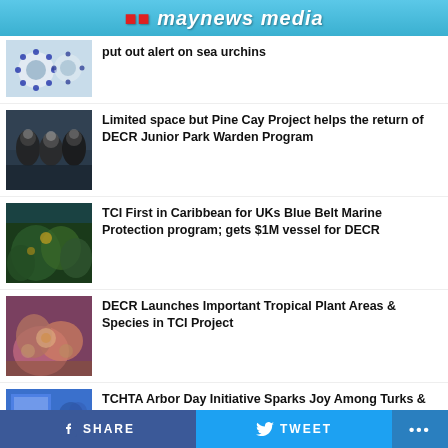...maynews media
put out alert on sea urchins
[Figure (photo): Close-up photo of sea urchins]
[Figure (photo): Group of divers in wetsuits]
Limited space but Pine Cay Project helps the return of DECR Junior Park Warden Program
[Figure (photo): Underwater marine vegetation photo]
TCI First in Caribbean for UKs Blue Belt Marine Protection program; gets $1M vessel for DECR
[Figure (photo): Tropical plant with pink flowers]
DECR Launches Important Tropical Plant Areas & Species in TCI Project
[Figure (photo): Group of students at Arbor Day event]
TCHTA Arbor Day Initiative Sparks Joy Among Turks & Caicos Students